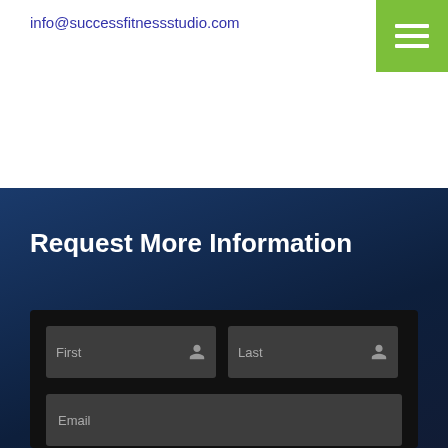info@successfitnessstudio.com
[Figure (other): Green hamburger menu button with three white horizontal lines]
Request More Information
[Figure (screenshot): Dark form box with two input fields: First (with person icon) and Last (with person icon) on one row, and Email input field below]